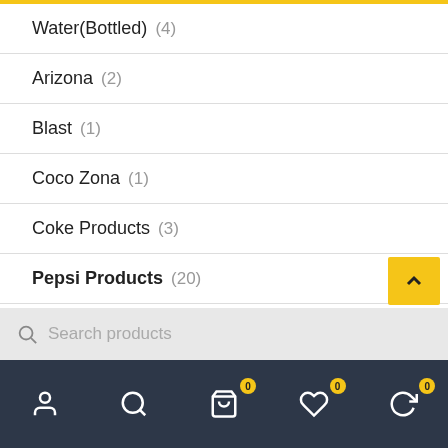Water(Bottled) (4)
Arizona (2)
Blast (1)
Coco Zona (1)
Coke Products (3)
Pepsi Products (20)
Gatorade (23)
Nasla Juices (5)
Search products